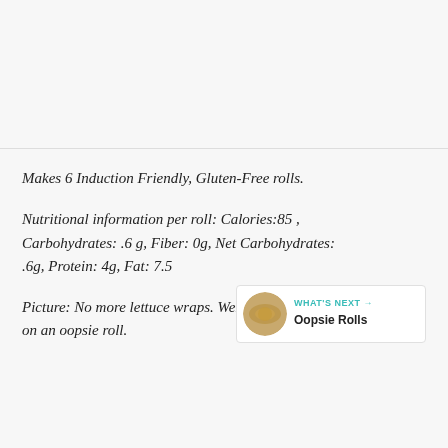Makes 6 Induction Friendly, Gluten-Free rolls.
Nutritional information per roll: Calories:85 , Carbohydrates: .6 g, Fiber: 0g, Net Carbohydrates: .6g, Protein: 4g, Fat: 7.5
Picture: No more lettuce wraps. Wendy's Baconato on an oopsie roll.